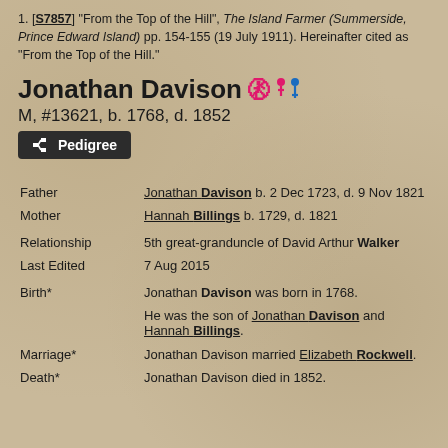1. [S7857] "From the Top of the Hill", The Island Farmer (Summerside, Prince Edward Island) pp. 154-155 (19 July 1911). Hereinafter cited as "From the Top of the Hill."
Jonathan Davison
M, #13621, b. 1768, d. 1852
Pedigree
| Field | Value |
| --- | --- |
| Father | Jonathan Davison b. 2 Dec 1723, d. 9 Nov 1821 |
| Mother | Hannah Billings b. 1729, d. 1821 |
| Relationship | 5th great-granduncle of David Arthur Walker |
| Last Edited | 7 Aug 2015 |
| Birth* | Jonathan Davison was born in 1768. He was the son of Jonathan Davison and Hannah Billings. |
| Marriage* | Jonathan Davison married Elizabeth Rockwell. |
| Death* | Jonathan Davison died in 1852. |